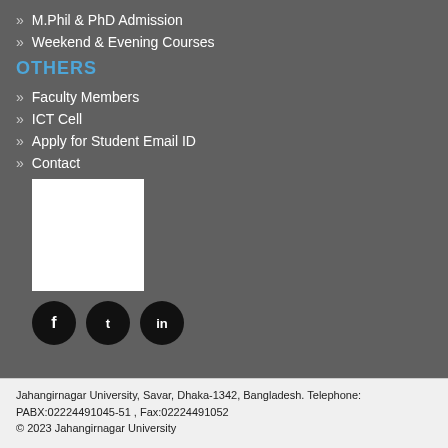M.Phil & PhD Admission
Weekend & Evening Courses
OTHERS
Faculty Members
ICT Cell
Apply for Student Email ID
Contact
[Figure (photo): White square image placeholder (logo or QR code)]
[Figure (other): Social media icons: Facebook, Twitter, LinkedIn]
Jahangirnagar University, Savar, Dhaka-1342, Bangladesh. Telephone: PABX:02224491045-51 , Fax:02224491052
© 2023 Jahangirnagar University